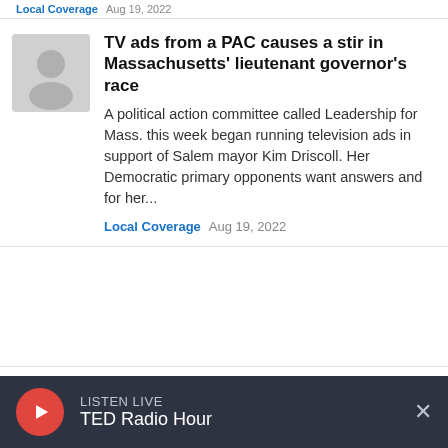Local Coverage  Aug 19, 2022
TV ads from a PAC causes a stir in Massachusetts' lieutenant governor's race
A political action committee called Leadership for Mass. this week began running television ads in support of Salem mayor Kim Driscoll. Her Democratic primary opponents want answers and for her...
Local Coverage  Aug 19, 2022
Wayfair cutting about 870 jobs, or 5% of global workforce
The text continues for the second article snippet (clipped)
LISTEN LIVE  TED Radio Hour